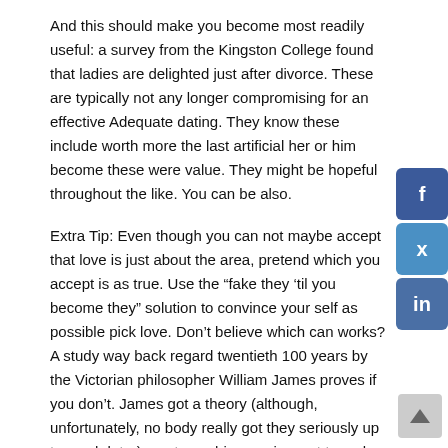And this should make you become most readily useful: a survey from the Kingston College found that ladies are delighted just after divorce. These are typically not any longer compromising for an effective Adequate dating. They know these include worth more the last artificial her or him become these were value. They might be hopeful throughout the like. You can be also.
Extra Tip: Even though you can not maybe accept that love is just about the area, pretend which you accept is as true. Use the “fake they ’til you become they” solution to convince your self as possible pick love. Don’t believe which can works? A study way back regard twentieth 100 years by the Victorian philosopher William James proves if you don’t. James got a theory (although, unfortunately, no body really got they seriously up to much later) you to pushing a grin want to make you become happier, and you may frowning need to make you then become unfortunate.
He then hypothesized that individuals you may create any feeling by acting as if they were experiencing you to feeling. Thus just do it.